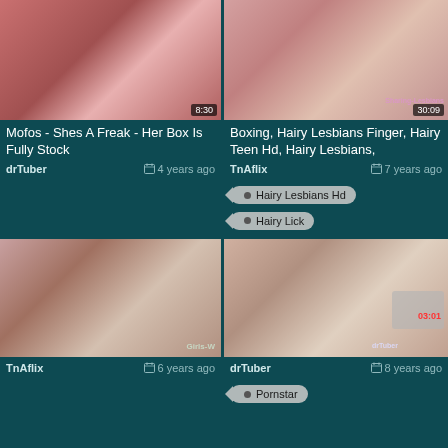[Figure (photo): Video thumbnail - top left card]
Mofos - Shes A Freak - Her Box Is Fully Stock
drTuber   4 years ago
[Figure (photo): Video thumbnail - top right card]
Boxing, Hairy Lesbians Finger, Hairy Teen Hd, Hairy Lesbians,
TnAflix   7 years ago
Hairy Lesbians Hd
Hairy Lick
[Figure (photo): Video thumbnail - bottom left card]
TnAflix   6 years ago
[Figure (photo): Video thumbnail - bottom right card]
drTuber   8 years ago
Pornstar